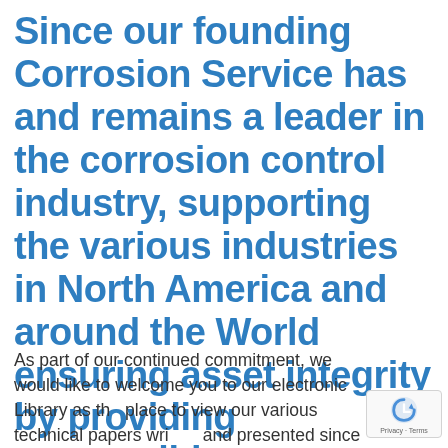Since our founding Corrosion Service has and remains a leader in the corrosion control industry, supporting the various industries in North America and around the World ensuring asset integrity by providing responsible engineering services.
As part of our continued commitment, we would like to welcome you to our electronic Library as the place to view our various technical papers written and presented since 1950 supporting, educating